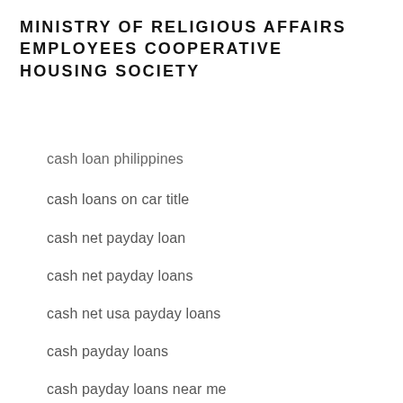MINISTRY OF RELIGIOUS AFFAIRS EMPLOYEES COOPERATIVE HOUSING SOCIETY
cash loan philippines
cash loans on car title
cash net payday loan
cash net payday loans
cash net usa payday loans
cash payday loans
cash payday loans near me
cash title loans
cash title loans near me
cash to payday loans